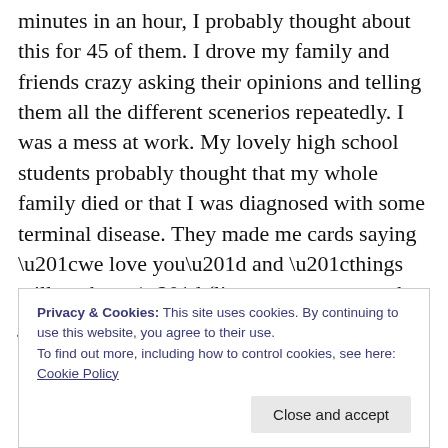minutes in an hour, I probably thought about this for 45 of them. I drove my family and friends crazy asking their opinions and telling them all the different scenerios repeatedly. I was a mess at work. My lovely high school students probably thought that my whole family died or that I was diagnosed with some terminal disease. They made me cards saying “we love you” and “things will get better” (listen, teenagers can be jerks sometimes, but they can also be so sweet and sensitive).
I do not think about my decision to get divorced anymore, I
Privacy & Cookies: This site uses cookies. By continuing to use this website, you agree to their use.
To find out more, including how to control cookies, see here: Cookie Policy
Close and accept